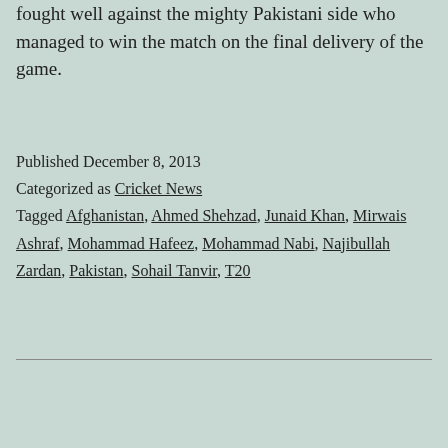fought well against the mighty Pakistani side who managed to win the match on the final delivery of the game.
Published December 8, 2013
Categorized as Cricket News
Tagged Afghanistan, Ahmed Shehzad, Junaid Khan, Mirwais Ashraf, Mohammad Hafeez, Mohammad Nabi, Najibullah Zardan, Pakistan, Sohail Tanvir, T20